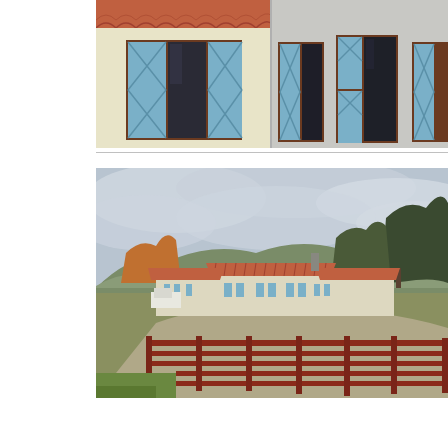[Figure (photo): Close-up photograph of building exterior showing windows with blue shutters and brown wooden frames, terracotta roof tiles, and light yellow/cream stucco walls. Two separate close-up views side by side.]
[Figure (photo): Wide exterior photograph of a ranch-style building complex with terracotta tile roofs, cream/white stucco walls, blue shutters, surrounded by rolling hills and trees under a cloudy sky. A red wooden fence is in the foreground and a gravel driveway curves around the structure.]